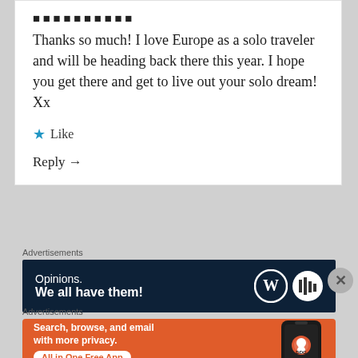Thanks so much! I love Europe as a solo traveler and will be heading back there this year. I hope you get there and get to live out your solo dream! Xx
Like
Reply →
Advertisements
[Figure (screenshot): WordPress advertisement banner with dark navy background reading 'Opinions. We all have them!' with WordPress and another logo on the right]
Advertisements
[Figure (screenshot): DuckDuckGo advertisement banner with orange background: 'Search, browse, and email with more privacy. All in One Free App' with phone and DuckDuckGo logo]